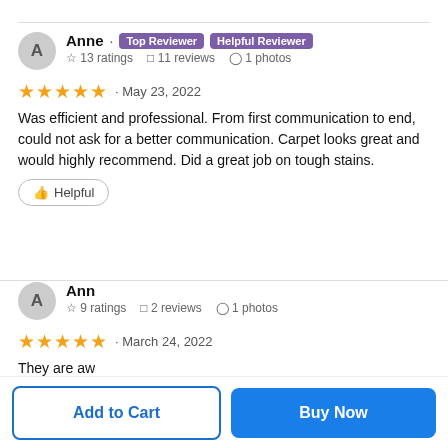Anne · Top Reviewer · Helpful Reviewer
☆ 13 ratings  □ 11 reviews  ⊙ 1 photos
★★★★★ · May 23, 2022
Was efficient and professional. From first communication to end, could not ask for a better communication. Carpet looks great and would highly recommend. Did a great job on tough stains.
👍 Helpful
Ann
☆ 9 ratings  □ 2 reviews  ⊙ 1 photos
★★★★★ · March 24, 2022
They are aw
👍 Helpful
Add to Cart
Buy Now